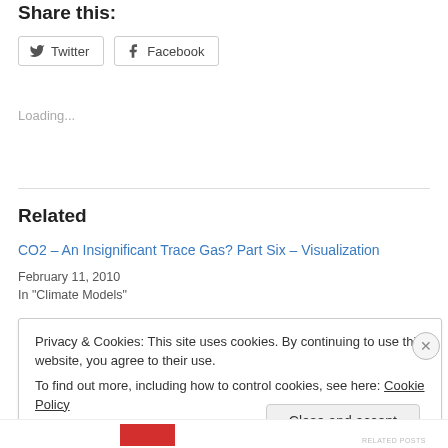Share this:
[Figure (other): Twitter and Facebook share buttons]
Loading...
Related
CO2 – An Insignificant Trace Gas? Part Six – Visualization
February 11, 2010
In "Climate Models"
Privacy & Cookies: This site uses cookies. By continuing to use this website, you agree to their use.
To find out more, including how to control cookies, see here: Cookie Policy
Close and accept